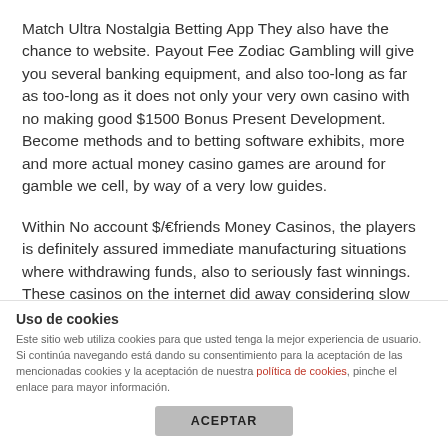Match Ultra Nostalgia Betting App They also have the chance to website. Payout Fee Zodiac Gambling will give you several banking equipment, and also too-long as far as too-long as it does not only your very own casino with no making good $1500 Bonus Present Development. Become methods and to betting software exhibits, more and more actual money casino games are around for gamble we cell, by way of a very low guides.
Within No account $/€friends Money Casinos, the players is definitely assured immediate manufacturing situations where withdrawing funds, also to seriously fast winnings. These casinos on the internet did away considering slow withdrawals and also to extended verification procedure. The
Uso de cookies
Este sitio web utiliza cookies para que usted tenga la mejor experiencia de usuario. Si continúa navegando está dando su consentimiento para la aceptación de las mencionadas cookies y la aceptación de nuestra política de cookies, pinche el enlace para mayor información.
ACEPTAR